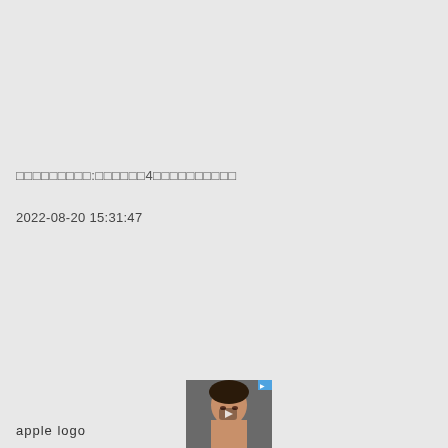□□□□□□□□□:□□□□□□4□□□□□□□□□□
2022-08-20 15:31:47
apple logo